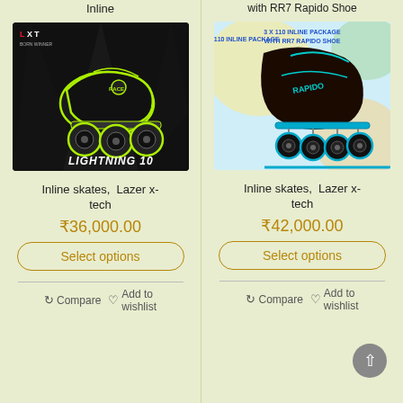Inline
[Figure (photo): Product image of Lightning 10 inline skates with LXT branding, black and green colorway, on dark background with spotlights]
Inline skates,  Lazer x-tech
₹36,000.00
Select options
Compare   Add to wishlist
with RR7 Rapido Shoe
[Figure (photo): Product image of 3x110 inline package with RR7 Rapido Shoe, teal/black colorway on colorful background]
Inline skates,  Lazer x-tech
₹42,000.00
Select options
Compare   Add to wishlist